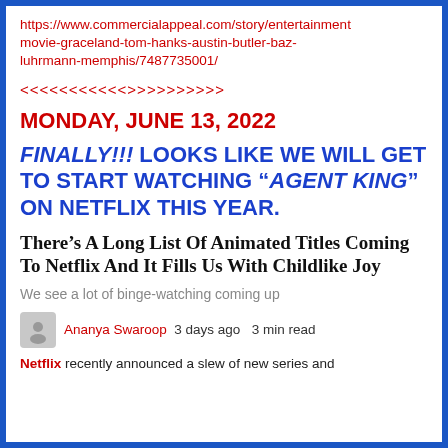https://www.commercialappeal.com/story/entertainment/movie-graceland-tom-hanks-austin-butler-baz-luhrmann-memphis/7487735001/
<<<<<<<<<<>>>>>>>>>
MONDAY, JUNE 13, 2022
FINALLY!!! LOOKS LIKE WE WILL GET TO START WATCHING “AGENT KING” ON NETFLIX THIS YEAR.
There’s A Long List Of Animated Titles Coming To Netflix And It Fills Us With Childlike Joy
We see a lot of binge-watching coming up
Ananya Swaroop  3 days ago  3 min read
Netflix recently announced a slew of new series and